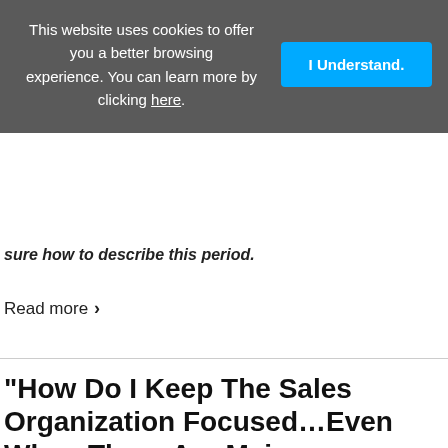This website uses cookies to offer you a better browsing experience. You can learn more by clicking here.
I Understand.
sure how to describe this period.
Read more ›
"How Do I Keep The Sales Organization Focused…Even When There Are Major Distr..."